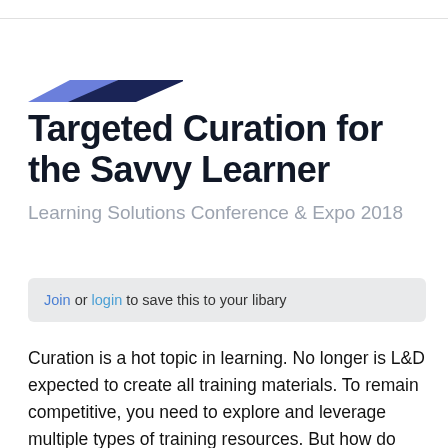[Figure (other): Two-tone diagonal accent bar: left portion cornflower blue, right portion dark navy blue]
Targeted Curation for the Savvy Learner
Learning Solutions Conference & Expo 2018
Join or login to save this to your libary
Curation is a hot topic in learning. No longer is L&D expected to create all training materials. To remain competitive, you need to explore and leverage multiple types of training resources. But how do you find targeted content? What is the